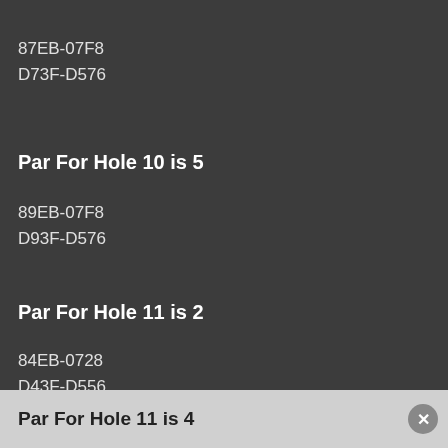87EB-07F8
D73F-D576
Par For Hole 10 is 5
89EB-07F8
D93F-D576
Par For Hole 11 is 2
84EB-0728
D43F-D556
Par For Hole 11 is 4